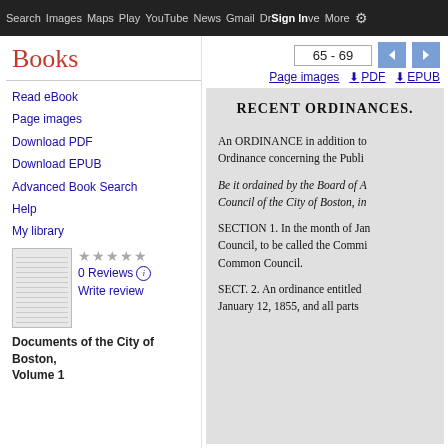Search  Images  Maps  Play  YouTube  News  Gmail  Drive  More  Sign In
Books
Read eBook
Page images
Download PDF
Download EPUB
Advanced Book Search
Help
My library
0 Reviews
Write review
Documents of the City of Boston, Volume 1
65 - 69
Page images  PDF  EPUB
RECENT ORDINANCES.
An ORDINANCE in addition to Ordinance concerning the Publi
Be it ordained by the Board of A Council of the City of Boston, in
SECTION 1. In the month of Jan Council, to be called the Commi Common Council.
SECT. 2. An ordinance entitled January 12, 1855, and all parts